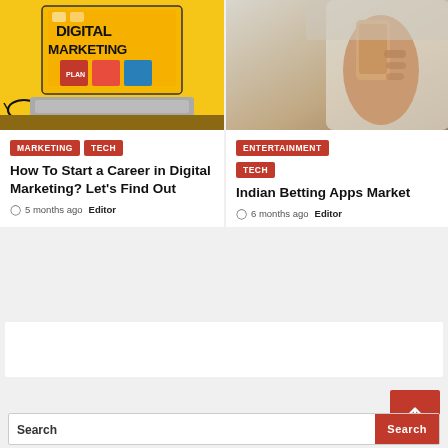[Figure (photo): Digital marketing illustration on a yellow monitor screen with glasses and keyboard]
MARKETING  TECH
How To Start a Career in Digital Marketing? Let's Find Out
5 months ago  Editor
[Figure (photo): Person holding smartphone, close-up shot]
ENTERTAINMENT
TECH
Indian Betting Apps Market
6 months ago  Editor
Search
Search